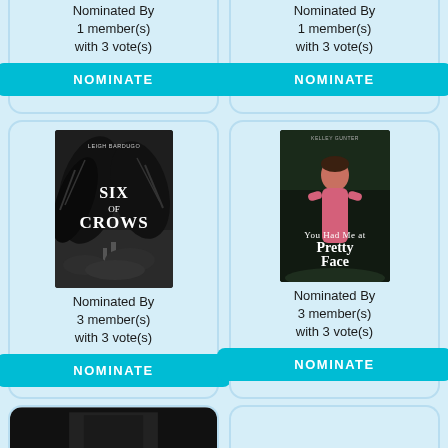Nominated By 1 member(s) with 3 vote(s)
NOMINATE
Nominated By 1 member(s) with 3 vote(s)
NOMINATE
[Figure (photo): Book cover: Six of Crows by Leigh Bardugo]
Nominated By 3 member(s) with 3 vote(s)
NOMINATE
[Figure (photo): Book cover: You Had Me at Pretty Face by Kelley Gunter]
Nominated By 3 member(s) with 3 vote(s)
NOMINATE
[Figure (photo): Partial book cover visible at bottom of page]